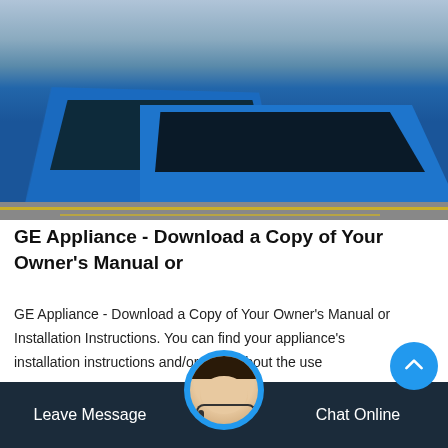[Figure (photo): Industrial blue metal skip bins/hoppers with large yellow machinery components in the background, photographed outdoors on a concrete surface with yellow ground markings.]
GE Appliance - Download a Copy of Your Owner's Manual or
GE Appliance - Download a Copy of Your Owner's Manual or Installation Instructions. You can find your appliance's installation instructions and/or learn about the use
Leave Message   Chat Online